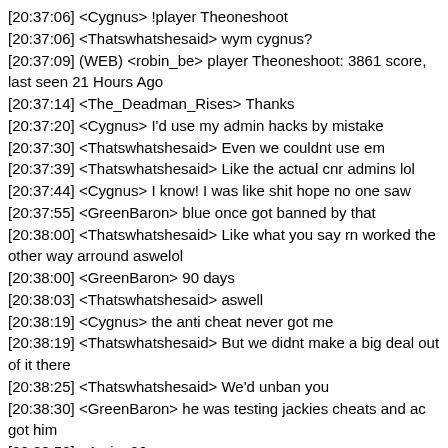[20:37:06] <Cygnus> !player Theoneshoot
[20:37:06] <Thatswhatshesaid> wym cygnus?
[20:37:09] (WEB) <robin_be> player Theoneshoot: 3861 score, last seen 21 Hours Ago
[20:37:14] <The_Deadman_Rises> Thanks
[20:37:20] <Cygnus> I'd use my admin hacks by mistake
[20:37:30] <Thatswhatshesaid> Even we couldnt use em
[20:37:39] <Thatswhatshesaid> Like the actual cnr admins lol
[20:37:44] <Cygnus> I know! I was like shit hope no one saw
[20:37:55] <GreenBaron> blue once got banned by that
[20:38:00] <Thatswhatshesaid> Like what you say rn worked the other way arround aswelol
[20:38:00] <GreenBaron> 90 days
[20:38:03] <Thatswhatshesaid> aswell
[20:38:19] <Cygnus> the anti cheat never got me
[20:38:19] <Thatswhatshesaid> But we didnt make a big deal out of it there
[20:38:25] <Thatswhatshesaid> We'd unban you
[20:38:30] <GreenBaron> he was testing jackies cheats and ac got him
[20:38:52] <Amine26> wow
[20:38:52] <GreenBaron> he turned them by accident
[20:39:05] <GreenBaron> I was banned too
[20:39:13] <GreenBaron> ip ban
[20:39:27] <Cygnus> I think the CnR was the only server I applied